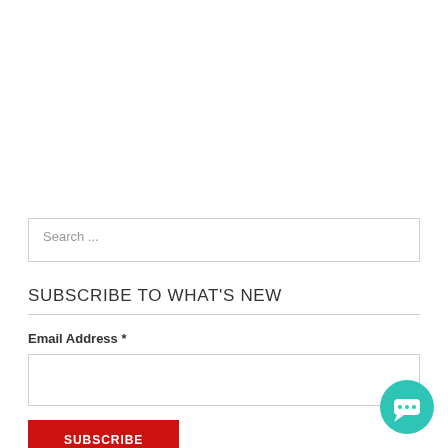Search ...
SUBSCRIBE TO WHAT'S NEW
Email Address *
SUBSCRIBE
[Figure (illustration): Teal circular chat bubble button in bottom right corner]